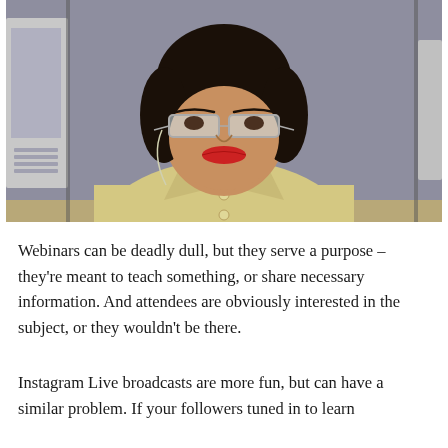[Figure (photo): A woman with dark bob hair, large aviator glasses, and red lipstick, wearing a yellow jacket, sitting in front of a computer monitor, making a bored/unimpressed expression. Gray background. Office setting.]
Webinars can be deadly dull, but they serve a purpose – they're meant to teach something, or share necessary information. And attendees are obviously interested in the subject, or they wouldn't be there.
Instagram Live broadcasts are more fun, but can have a similar problem. If your followers tuned in to learn